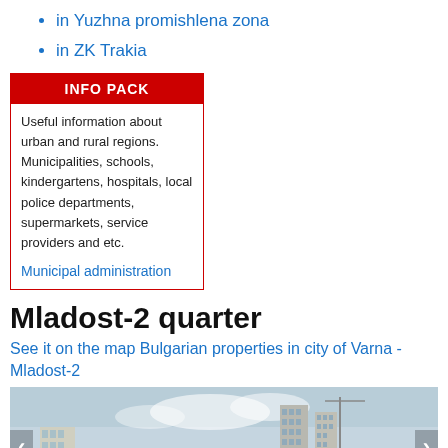in Yuzhna promishlena zona
in ZK Trakia
INFO PACK
Useful information about urban and rural regions. Municipalities, schools, kindergartens, hospitals, local police departments, supermarkets, service providers and etc.
Municipal administration
Mladost-2 quarter
See it on the map Bulgarian properties in city of Varna - Mladost-2
[Figure (photo): Aerial/street view of Mladost area showing apartment blocks and buildings in Varna, with navigation arrows and 1/7 counter overlay]
Mladost area is the second largest area in the city of Varna. It